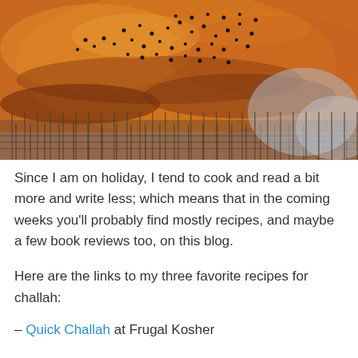[Figure (photo): Close-up photograph of a braided challah bread with poppy seeds on top, resting on a wire cooling rack. The bread has a golden-brown crust with dark brown tones and is dusted with black poppy seeds.]
Since I am on holiday, I tend to cook and read a bit more and write less; which means that in the coming weeks you'll probably find mostly recipes, and maybe a few book reviews too, on this blog.
Here are the links to my three favorite recipes for challah:
– Quick Challah at Frugal Kosher